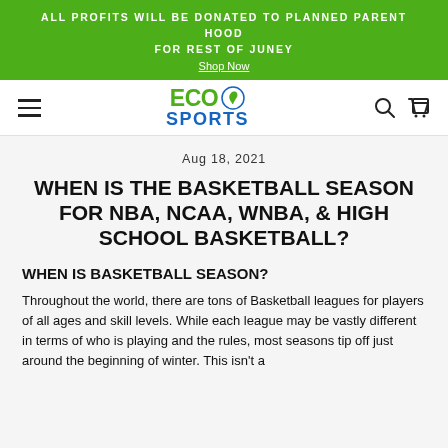ALL PROFITS WILL BE DONATED TO PLANNED PARENT HOOD FOR REST OF JUNEY
Shop Now
[Figure (logo): Eco Sports logo with green ECO text and leaf icon, blue SPORTS text]
Aug 18, 2021
WHEN IS THE BASKETBALL SEASON FOR NBA, NCAA, WNBA, & HIGH SCHOOL BASKETBALL?
WHEN IS BASKETBALL SEASON?
Throughout the world, there are tons of Basketball leagues for players of all ages and skill levels. While each league may be vastly different in terms of who is playing and the rules, most seasons tip off just around the beginning of winter. This isn't a